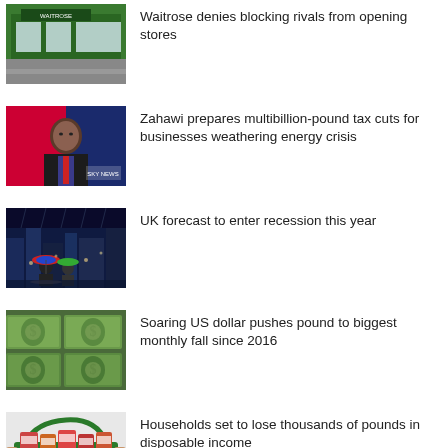[Figure (photo): Waitrose store exterior with green signage]
Waitrose denies blocking rivals from opening stores
[Figure (photo): Man in suit on TV studio background with red and blue colors]
Zahawi prepares multibillion-pound tax cuts for businesses weathering energy crisis
[Figure (photo): People with umbrellas walking in rainy city street at night]
UK forecast to enter recession this year
[Figure (photo): US dollar bills in a row]
Soaring US dollar pushes pound to biggest monthly fall since 2016
[Figure (photo): Green shopping basket with grocery items]
Households set to lose thousands of pounds in disposable income